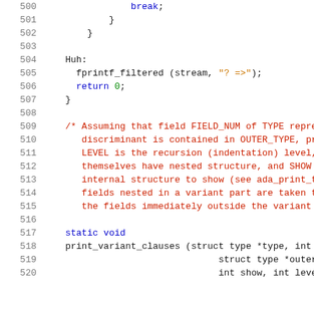[Figure (screenshot): Source code listing lines 500-520 in C/Ada with line numbers, showing code with break statement, Huh label, fprintf_filtered call, return 0, closing brace, comment block about FIELD_NUM TYPE OUTER_TYPE recursion indentation, static void declaration, and print_variant_clauses function signature.]